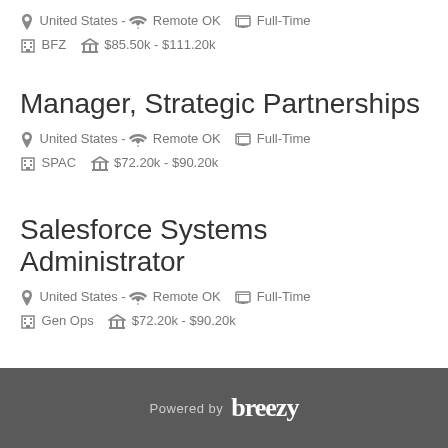United States - Remote OK   Full-Time
BFZ   $85.50k - $111.20k
Manager, Strategic Partnerships
United States - Remote OK   Full-Time
SPAC   $72.20k - $90.20k
Salesforce Systems Administrator
United States - Remote OK   Full-Time
Gen Ops   $72.20k - $90.20k
Powered by breezy